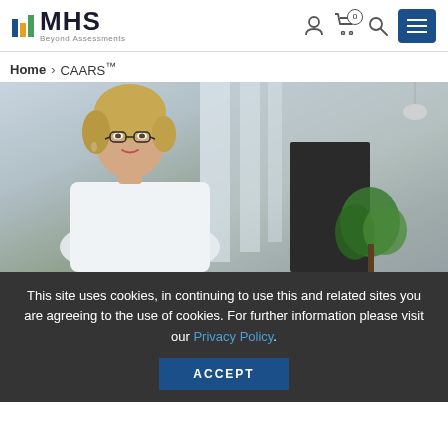MHS Beyond Assessments
Home › CAARS™
[Figure (photo): Middle-aged blonde woman wearing glasses and a white shirt, sitting at a desk in a modern office environment with a plant and blurred background]
This site uses cookies, in continuing to use this and related sites you are agreeing to the use of cookies. For further information please visit our Privacy Policy.
ACCEPT